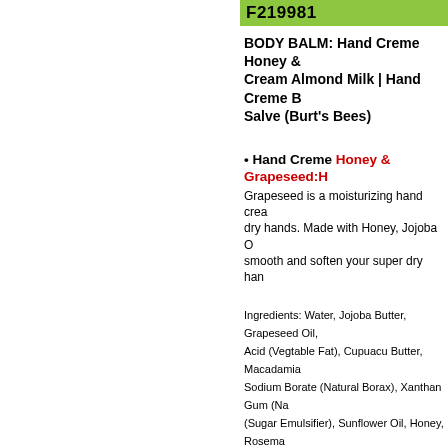F219981
BODY BALM: Hand Creme Honey & Cream Almond Milk | Hand Creme B Salve (Burt's Bees)
Hand Creme Honey & Grapeseed: Grapeseed is a moisturizing hand crea dry hands. Made with Honey, Jojoba C smooth and soften your super dry han
Ingredients: Water, Jojoba Butter, Grapeseed Oil, Acid (Vegtable Fat), Cupuacu Butter, Macadamia Sodium Borate (Natural Borax), Xanthan Gum (Na (Sugar Emulsifier), Sunflower Oil, Honey, Rosema E), Beta Carotene, Glucose Oxidase And Lactope
Beeswax Hand Cream Almond Milk: Almond Milk is a super rich, all-natural Almond Oil and Vitamin E to moisturize Seals and conditions skin with Beeswa Nutty Almond scent. 6.5 oz. ORDER T
Ingredients: Sweet Almond Oil, Water, Beeswax, A (Natural Clay), Fragrance, Citrus Grandis (Grapef &Vegetable Fat), Glucose, Tocopherol (Vitamin E